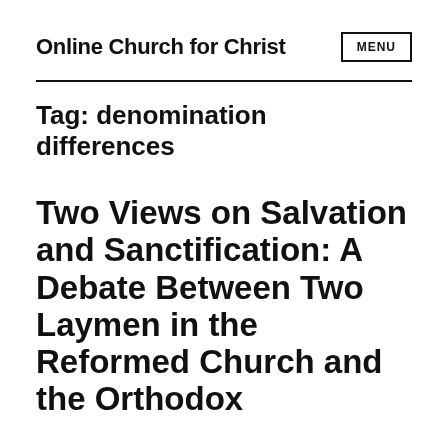Online Church for Christ  MENU
Tag: denomination differences
Two Views on Salvation and Sanctification: A Debate Between Two Laymen in the Reformed Church and the Orthodox Faith...